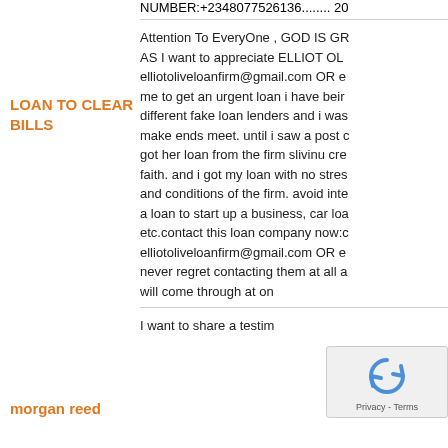NUMBER:+2348077526136........ 20
LOAN TO CLEAR BILLS
Attention To EveryOne , GOD IS GR AS I want to appreciate ELLIOT OL elliotoliveloanfirm@gmail.com OR e me to get an urgent loan i have beir different fake loan lenders and i was make ends meet. until i saw a post c got her loan from the firm slivinu cre faith. and i got my loan with no stres and conditions of the firm. avoid inte a loan to start up a business, car loa etc.contact this loan company now:c elliotoliveloanfirm@gmail.com OR e never regret contacting them at all a will come through at on
morgan reed
I want to share a testim